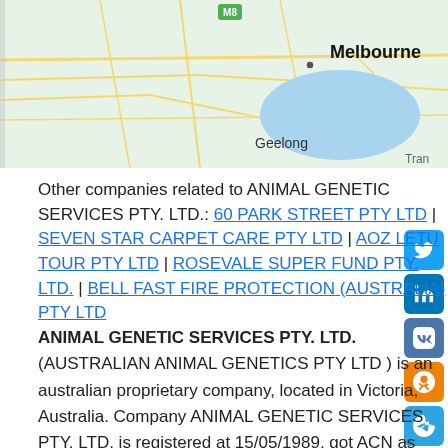[Figure (map): Google Maps view showing Melbourne and Geelong area in Victoria, Australia with road networks and water bodies visible.]
Other companies related to ANIMAL GENETIC SERVICES PTY. LTD.: 60 PARK STREET PTY LTD | SEVEN STAR CARPET CARE PTY LTD | AOZ LETU TOUR PTY LTD | ROSEVALE SUPER FUND PTY. LTD. | BELL FAST FIRE PROTECTION (AUSTRALIA) PTY LTD
ANIMAL GENETIC SERVICES PTY. LTD. (AUSTRALIAN ANIMAL GENETICS PTY LTD ) is an australian proprietary company, located in Victoria, Australia. Company ANIMAL GENETIC SERVICES PTY. LTD. is registered at 15/05/1989, got ACN as 007216873 and ABN as 92007216873; at the moment company status is registered. We found out such reports and documents as address, credits, phone, contact data ANIMAL GENETIC SERVICES PTY. LTD. 2022, vacancies, responds, finance, company information, confirmation statement (annual return), company accounts